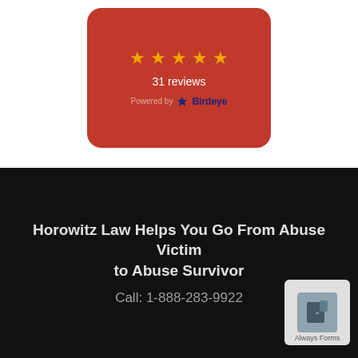[Figure (other): Red rounded card widget showing 5 gold stars, '31 reviews', and 'Powered by Birdeye' text on a red background]
Horowitz Law Helps You Go From Abuse Victim
to Abuse Survivor
Call: 1-888-283-9922
[Figure (other): Small badge/widget in bottom right corner with a dark icon and text 'Always Forms']